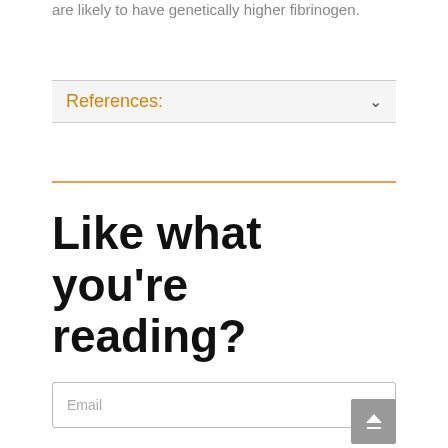are likely to have genetically higher fibrinogen.
References:
Like what you're reading?
Sign up for the free weekly newsletter packed with interesting new research and article updates.
Email